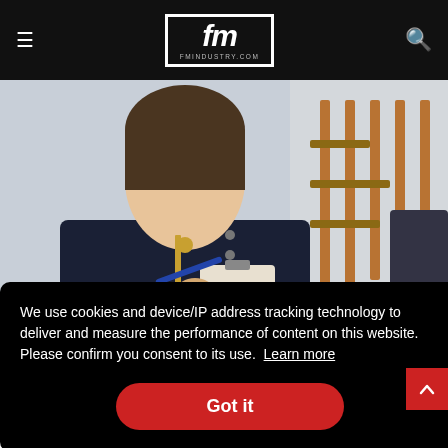fm — fmindustry.com
[Figure (photo): Technician in dark navy jacket holding a clipboard/tablet with copper pipework and boiler equipment visible in background]
We use cookies and device/IP address tracking technology to deliver and measure the performance of content on this website. Please confirm you consent to its use. Learn more
Got it
itor
boilers remotely....